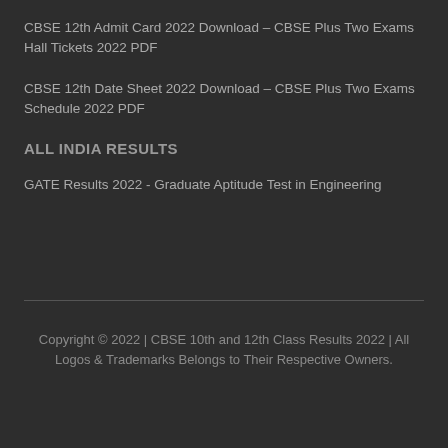CBSE 12th Admit Card 2022 Download – CBSE Plus Two Exams Hall Tickets 2022 PDF
CBSE 12th Date Sheet 2022 Download – CBSE Plus Two Exams Schedule 2022 PDF
ALL INDIA RESULTS
GATE Results 2022 - Graduate Aptitude Test in Engineering
Copyright © 2022 | CBSE 10th and 12th Class Results 2022 | All Logos & Trademarks Belongs to Their Respective Owners.